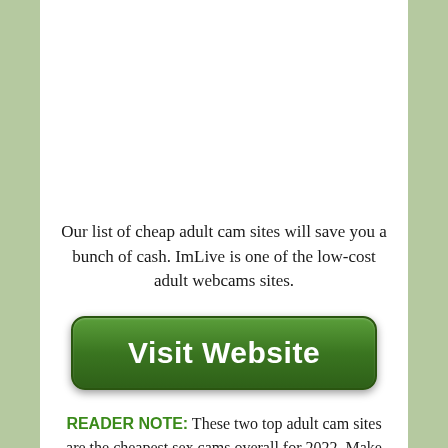Our list of cheap adult cam sites will save you a bunch of cash. ImLive is one of the low-cost adult webcams sites.
[Figure (other): Green 'Visit Website' button with rounded corners and gradient background]
READER NOTE: These two top adult cam sites are the cheapest sex cams overall for 2022. Make sure to try them both before you venture too far out as the costs for live sex cams can rise fast.
After using adult webcams site for nearly a decade I can